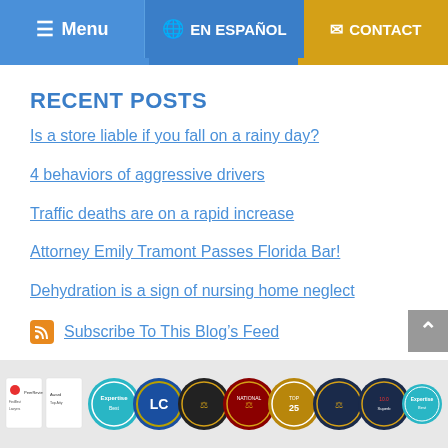Menu | EN ESPAÑOL | CONTACT
RECENT POSTS
Is a store liable if you fall on a rainy day?
4 behaviors of aggressive drivers
Traffic deaths are on a rapid increase
Attorney Emily Tramont Passes Florida Bar!
Dehydration is a sign of nursing home neglect
Subscribe To This Blog's Feed
[Figure (logo): Row of legal award badges and certification logos in the footer]